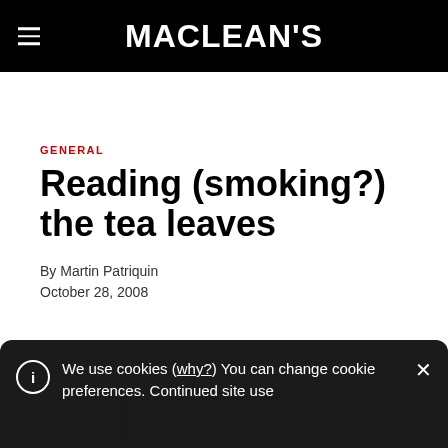MACLEAN'S
GENERAL
Reading (smoking?) the tea leaves
By Martin Patriquin
October 28, 2008
[Figure (photo): Partial image visible at bottom of article area]
We use cookies (why?) You can change cookie preferences. Continued site use